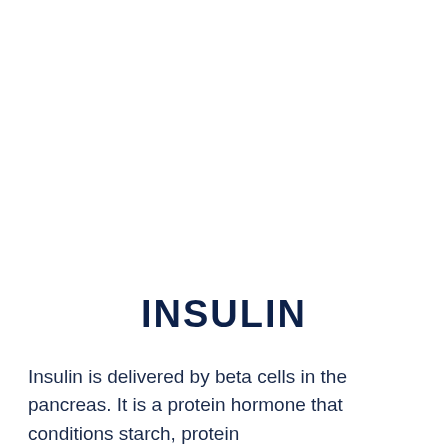INSULIN
Insulin is delivered by beta cells in the pancreas. It is a protein hormone that conditions starch, protein